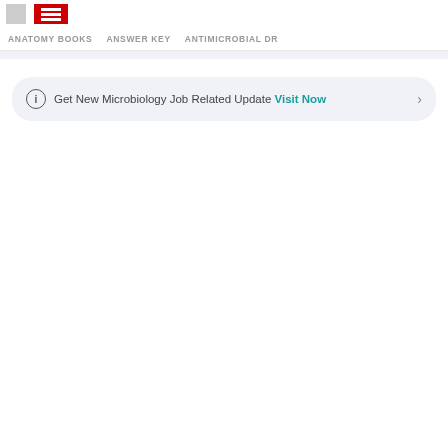ANATOMY BOOKS   ANSWER KEY   ANTIMICROBIAL DR
Get New Microbiology Job Related Update Visit Now